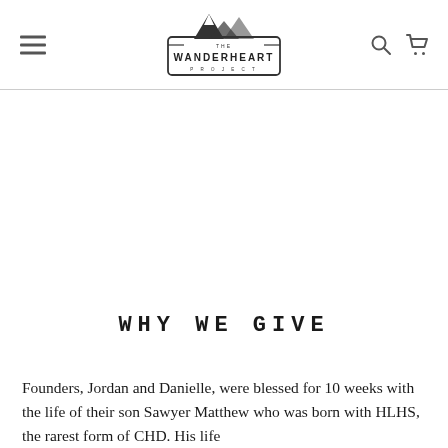THE WANDERHEART PROJECT [logo with navigation icons]
WHY WE GIVE
Founders, Jordan and Danielle, were blessed for 10 weeks with the life of their son Sawyer Matthew who was born with HLHS, the rarest form of CHD. His life